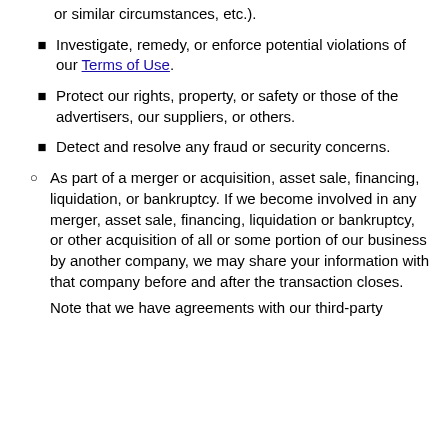suspends, courts orders, regulatory actions or similar circumstances, etc.).
Investigate, remedy, or enforce potential violations of our Terms of Use.
Protect our rights, property, or safety or those of the advertisers, our suppliers, or others.
Detect and resolve any fraud or security concerns.
As part of a merger or acquisition, asset sale, financing, liquidation, or bankruptcy. If we become involved in any merger, asset sale, financing, liquidation or bankruptcy, or other acquisition of all or some portion of our business by another company, we may share your information with that company before and after the transaction closes.
Note that we have agreements with our third-party